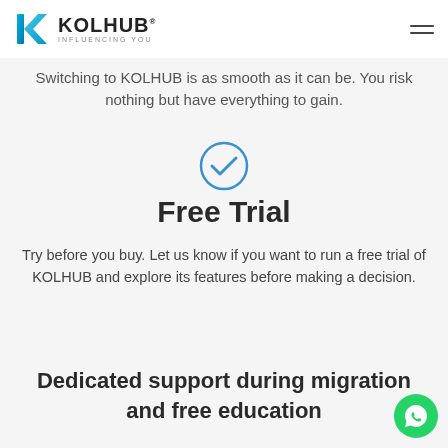KOLHUB INFLUENCING YOU
Switching to KOLHUB is as smooth as it can be. You risk nothing but have everything to gain.
[Figure (illustration): Blue circle with a checkmark icon]
Free Trial
Try before you buy. Let us know if you want to run a free trial of KOLHUB and explore its features before making a decision.
Dedicated support during migration and free education